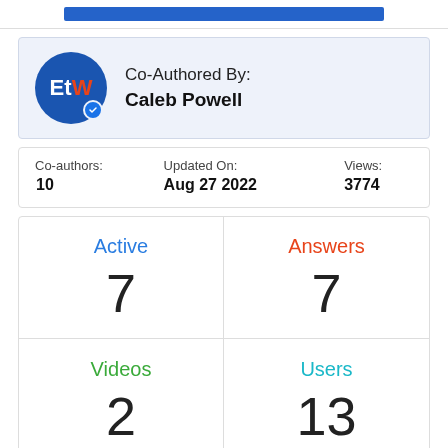[Figure (other): Blue horizontal bar at top of page]
Co-Authored By: Caleb Powell
| Co-authors: | Updated On: | Views: |
| --- | --- | --- |
| 10 | Aug 27 2022 | 3774 |
| Active | Answers | Videos | Users |
| --- | --- | --- | --- |
| 7 | 7 | 2 | 13 |